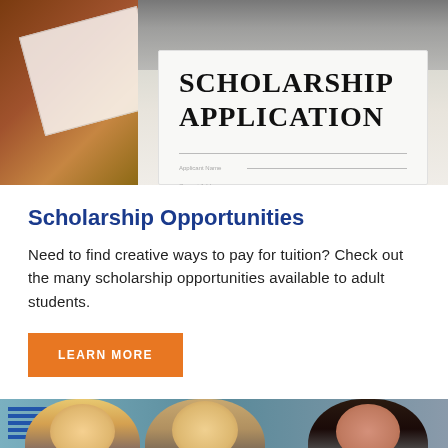[Figure (photo): Scholarship application form paper on a desk with a laptop keyboard visible in the background]
Scholarship Opportunities
Need to find creative ways to pay for tuition? Check out the many scholarship opportunities available to adult students.
LEARN MORE
[Figure (photo): Three people sitting together in a classroom setting, appearing to collaborate or study]